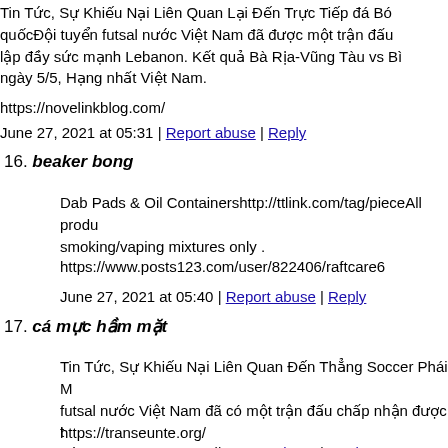Tin Tức, Sự Khiếu Nại Liên Quan Lại Đến Trực Tiếp đá Bóng quốcĐội tuyển futsal nước Việt Nam đã được một trận đấu lập đầy sức mạnh Lebanon. Kết quả Bà Rịa-Vũng Tàu vs Bì ngày 5/5, Hạng nhất Việt Nam.
https://novelinkblog.com/
June 27, 2021 at 05:31 | Report abuse | Reply
16. beaker bong
Dab Pads & Oil Containershttp://ttlink.com/tag/pieceAll produ smoking/vaping mixtures only .
https://www.posts123.com/user/822406/raftcare6
June 27, 2021 at 05:40 | Report abuse | Reply
17. cá mực hầm mặt
Tin Tức, Sự Khiếu Nại Liên Quan Đến Thẳng Soccer Phái N futsal nước Việt Nam đã có một trận đấu chấp nhận được t sức mạnh Lebanon. Kết trái Bà Rịa-Vũng Tàu vs Bình Phướ 5/5, Hạng nhất nước Việt Nam.
https://transeunte.org/
June 27, 2021 at 05:47 | Report abuse | Reply